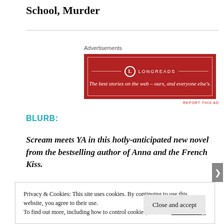School, Murder
Advertisements
[Figure (other): Longreads advertisement banner — red background with white border, Longreads logo and tagline: The best stories on the web – ours, and everyone else's.]
BLURB:
Scream meets YA in this hotly-anticipated new novel from the bestselling author of Anna and the French Kiss.
Privacy & Cookies: This site uses cookies. By continuing to use this website, you agree to their use. To find out more, including how to control cookies, see here: Cookie Policy
Close and accept